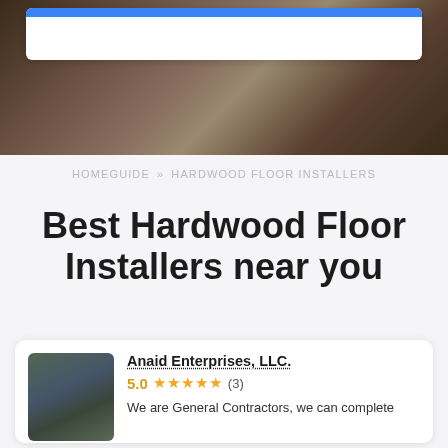[Figure (photo): Dark wood flooring texture background image with a white search bar overlay at the top]
HOMEGUIDE » HARDWOOD FLOOR INSTALLERS
Best Hardwood Floor Installers near you
[Figure (photo): Photo of two people standing outdoors, used as business profile image for Anaid Enterprises, LLC.]
Anaid Enterprises, LLC.
5.0 ★★★★★ (3)
We are General Contractors, we can complete